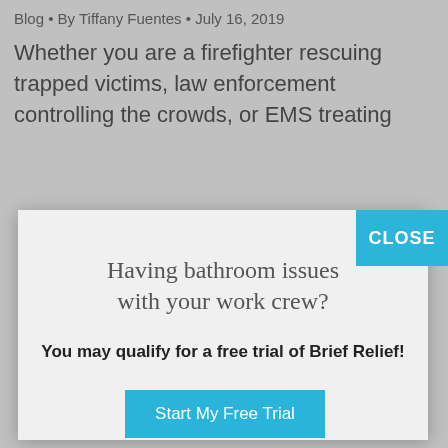Blog • By Tiffany Fuentes • July 16, 2019
Whether you are a firefighter rescuing trapped victims, law enforcement controlling the crowds, or EMS treating
[Figure (screenshot): Modal popup overlay with CLOSE button in teal. Contains heading 'Having bathroom issues with your work crew?', subheading 'You may qualify for a free trial of Brief Relief!', and a teal 'Start My Free Trial' button.]